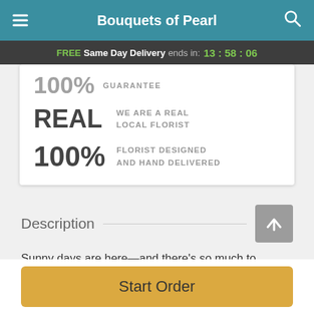Bouquets of Pearl
FREE Same Day Delivery ends in: 13:58:06
100% GUARANTEE
REAL WE ARE A REAL LOCAL FLORIST
100% FLORIST DESIGNED AND HAND DELIVERED
Description
Sunny days are here—and there's so much to celebrate! Make a summery splash with this vivid bundle of blooms
Start Order